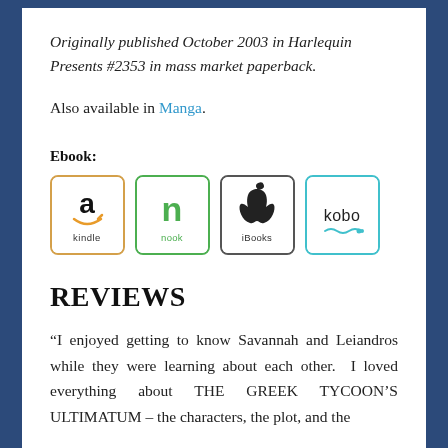Originally published October 2003 in Harlequin Presents #2353 in mass market paperback.
Also available in Manga.
Ebook:
[Figure (illustration): Four ebook retailer icons: Kindle (orange border), Nook (green border), iBooks (dark border), Kobo (light blue border)]
REVIEWS
“I enjoyed getting to know Savannah and Leiandros while they were learning about each other.  I loved everything about THE GREEK TYCOON’S ULTIMATUM – the characters, the plot, and the